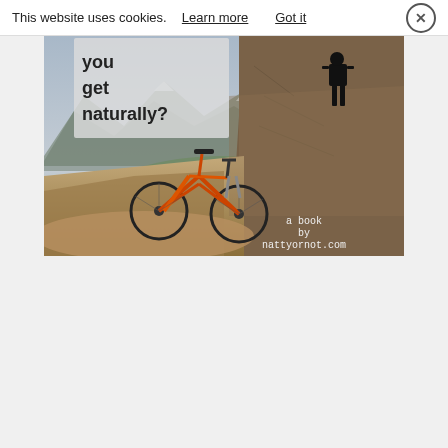This website uses cookies. Learn more   Got it  ×
[Figure (photo): Book cover image showing a person standing on a rocky cliff with a mountain bike below, mountains in background. Text overlay reads 'you get naturally?' and 'a book by nattyornot.com']